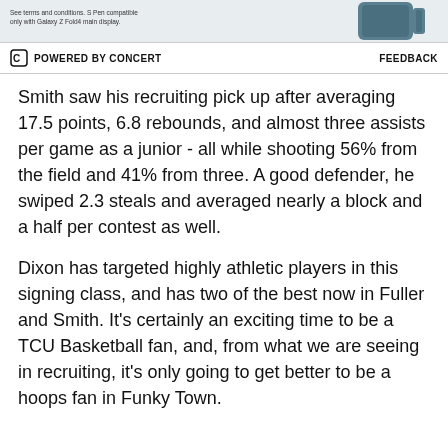[Figure (other): Advertisement banner with phone image and fine print text: See terms and conditions. S Pen compatible only with Galaxy Z Fold4 main display.]
POWERED BY CONCERT   FEEDBACK
Smith saw his recruiting pick up after averaging 17.5 points, 6.8 rebounds, and almost three assists per game as a junior - all while shooting 56% from the field and 41% from three. A good defender, he swiped 2.3 steals and averaged nearly a block and a half per contest as well.
Dixon has targeted highly athletic players in this signing class, and has two of the best now in Fuller and Smith. It's certainly an exciting time to be a TCU Basketball fan, and, from what we are seeing in recruiting, it's only going to get better to be a hoops fan in Funky Town.